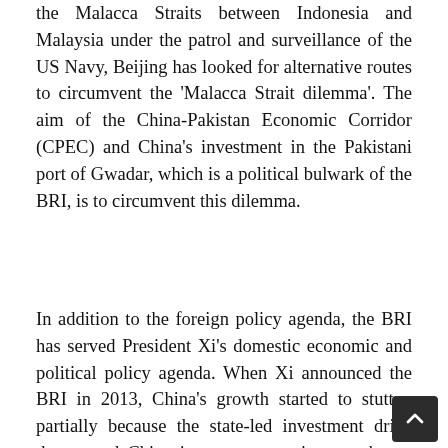the Malacca Straits between Indonesia and Malaysia under the patrol and surveillance of the US Navy, Beijing has looked for alternative routes to circumvent the 'Malacca Strait dilemma'. The aim of the China-Pakistan Economic Corridor (CPEC) and China's investment in the Pakistani port of Gwadar, which is a political bulwark of the BRI, is to circumvent this dilemma.
In addition to the foreign policy agenda, the BRI has served President Xi's domestic economic and political policy agenda. When Xi announced the BRI in 2013, China's growth started to stutter, partially because the state-led investment drive that turned China into an economic powerhouse produced an overheated infrastructure sector.